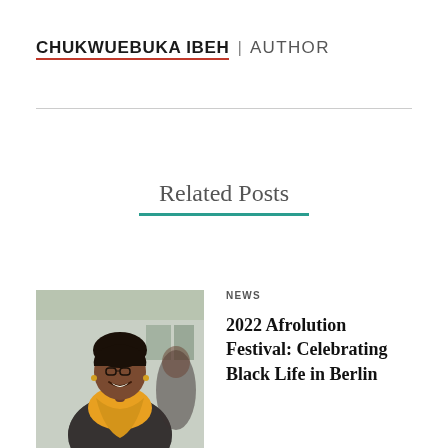CHUKWUEBUKA IBEH | AUTHOR
Related Posts
[Figure (photo): Smiling woman with yellow scarf and dark patterned top, photographed outdoors]
NEWS
2022 Afrolution Festival: Celebrating Black Life in Berlin